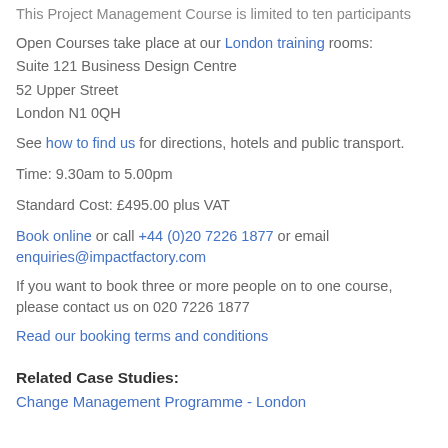This Project Management Course is limited to ten participants
Open Courses take place at our London training rooms:
Suite 121 Business Design Centre
52 Upper Street
London N1 0QH
See how to find us for directions, hotels and public transport.
Time: 9.30am to 5.00pm
Standard Cost: £495.00 plus VAT
Book online or call +44 (0)20 7226 1877 or email enquiries@impactfactory.com
If you want to book three or more people on to one course, please contact us on 020 7226 1877
Read our booking terms and conditions
Related Case Studies:
Change Management Programme - London